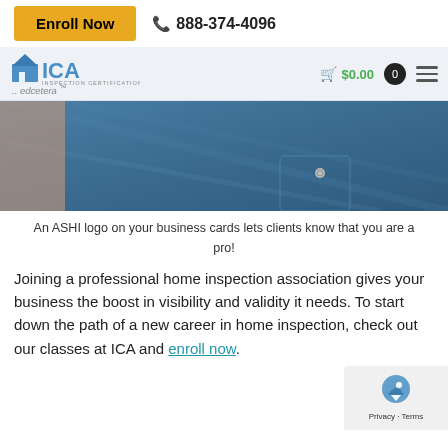Enroll Now  |  888-374-4096
[Figure (logo): ICA Inspection Certification Associates logo with house icon, and '...edcetera...' tagline below]
[Figure (photo): Close-up photo of a person wearing a denim shirt or jacket — related to home inspection professional branding]
An ASHI logo on your business cards lets clients know that you are a pro!
Joining a professional home inspection association gives your business the boost in visibility and validity it needs. To start down the path of a new career in home inspection, check out our classes at ICA and enroll now.